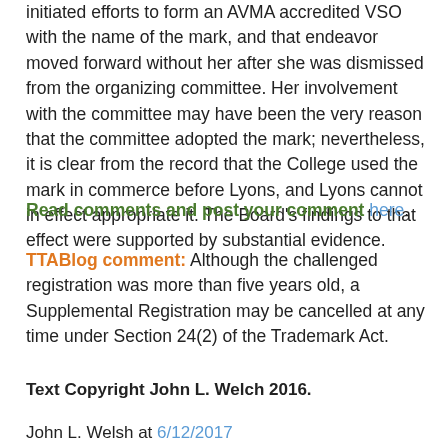initiated efforts to form an AVMA accredited VSO with the name of the mark, and that endeavor moved forward without her after she was dismissed from the organizing committee. Her involvement with the committee may have been the very reason that the committee adopted the mark; nevertheless, it is clear from the record that the College used the mark in commerce before Lyons, and Lyons cannot in effect appropriate it. The Board's findings to that effect were supported by substantial evidence.
Read comments and post your comment here.
TTABlog comment: Although the challenged registration was more than five years old, a Supplemental Registration may be cancelled at any time under Section 24(2) of the Trademark Act.
Text Copyright John L. Welch 2016.
John L. Welsh at 6/12/2017